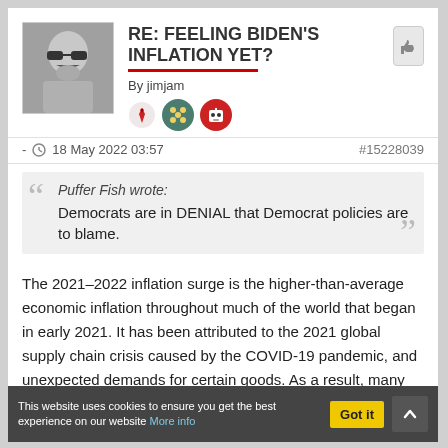RE: FEELING BIDEN'S INFLATION YET?
By jimjam
- 18 May 2022 03:57   #15228039
Puffer Fish wrote:
Democrats are in DENIAL that Democrat policies are to blame.
The 2021–2022 inflation surge is the higher-than-average economic inflation throughout much of the world that began in early 2021. It has been attributed to the 2021 global supply chain crisis caused by the COVID-19 pandemic, and unexpected demands for certain goods. As a result, many countries have seen their highest rates of inflation in decades
This website uses cookies to ensure you get the best experience on our website More info   Got it